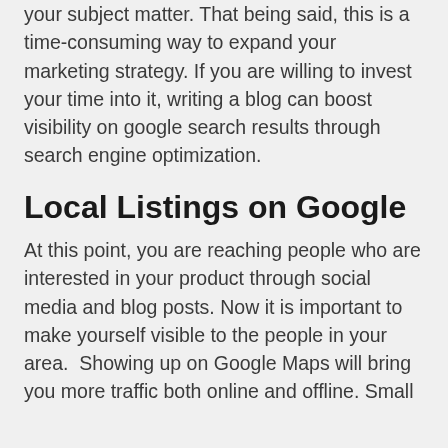your subject matter. That being said, this is a time-consuming way to expand your marketing strategy. If you are willing to invest your time into it, writing a blog can boost visibility on google search results through search engine optimization.
Local Listings on Google
At this point, you are reaching people who are interested in your product through social media and blog posts. Now it is important to make yourself visible to the people in your area.  Showing up on Google Maps will bring you more traffic both online and offline. Small